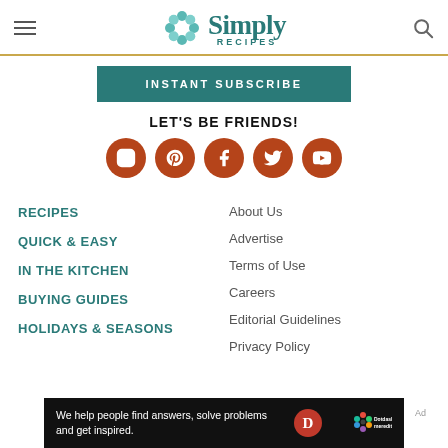Simply Recipes
INSTANT SUBSCRIBE
LET'S BE FRIENDS!
[Figure (illustration): Five social media icons (Instagram, Pinterest, Facebook, Twitter, YouTube) as white icons on brown/orange circles]
RECIPES
QUICK & EASY
IN THE KITCHEN
BUYING GUIDES
HOLIDAYS & SEASONS
About Us
Advertise
Terms of Use
Careers
Editorial Guidelines
Privacy Policy
[Figure (logo): Dotdash Meredith advertisement banner: 'We help people find answers, solve problems and get inspired.' with D logo and Dotdash meredith logo]